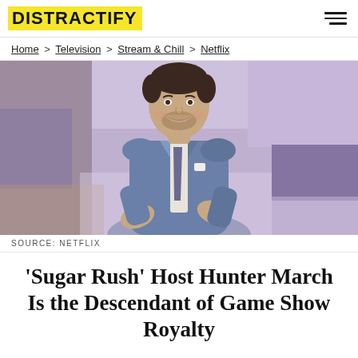DISTRACTIFY
Home > Television > Stream & Chill > Netflix
[Figure (photo): A smiling man in a blue suit with a dark tie, standing in front of a colorful purple and pastel studio set background, clapping or gesturing with his hands.]
SOURCE: NETFLIX
'Sugar Rush' Host Hunter March Is the Descendant of Game Show Royalty